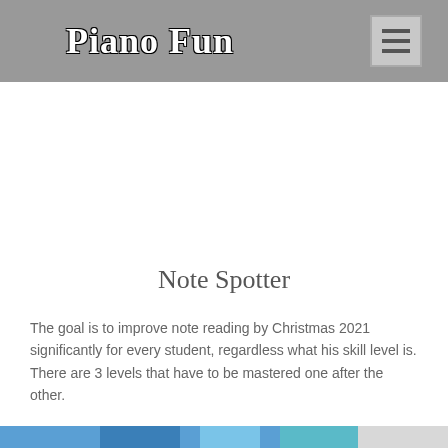Piano Fun
Note Spotter
The goal is to improve note reading by Christmas 2021 significantly for every student, regardless what his skill level is. There are 3 levels that have to be mastered one after the other.
[Figure (photo): Bottom partial image strip showing a piano-related scene]